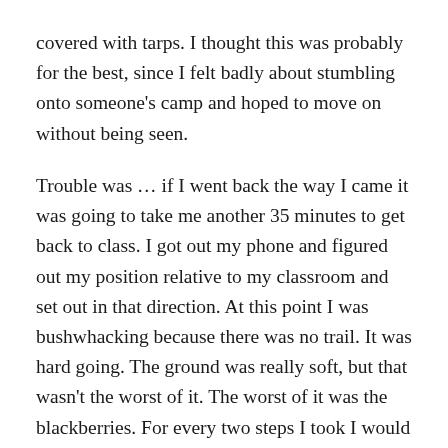covered with tarps. I thought this was probably for the best, since I felt badly about stumbling onto someone's camp and hoped to move on without being seen.
Trouble was … if I went back the way I came it was going to take me another 35 minutes to get back to class. I got out my phone and figured out my position relative to my classroom and set out in that direction. At this point I was bushwhacking because there was no trail. It was hard going. The ground was really soft, but that wasn't the worst of it. The worst of it was the blackberries. For every two steps I took I would have to stop and disentangle myself from the thorns, or try to step over the mid-thigh high vines. Sometimes I would have to do both because my steps would prove to be inadequate to the task of getting over the brambles.
After what seemed like forever, I checked my watch. Five